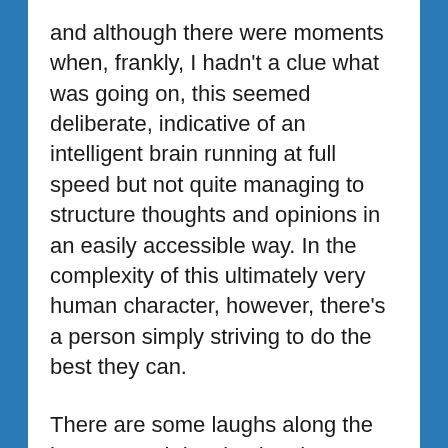and although there were moments when, frankly, I hadn't a clue what was going on, this seemed deliberate, indicative of an intelligent brain running at full speed but not quite managing to structure thoughts and opinions in an easily accessible way. In the complexity of this ultimately very human character, however, there's a person simply striving to do the best they can.
There are some laughs along the journey, and despite the character being thoroughly dislikeable to begin with (at